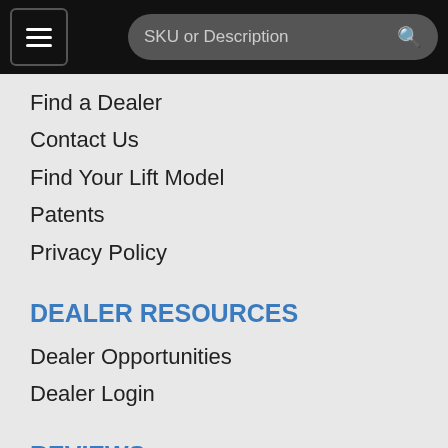SKU or Description
Find a Dealer
Contact Us
Find Your Lift Model
Patents
Privacy Policy
DEALER RESOURCES
Dealer Opportunities
Dealer Login
REVIEWS
CUSTOM MANUFACTURING
CONNECT WITH US